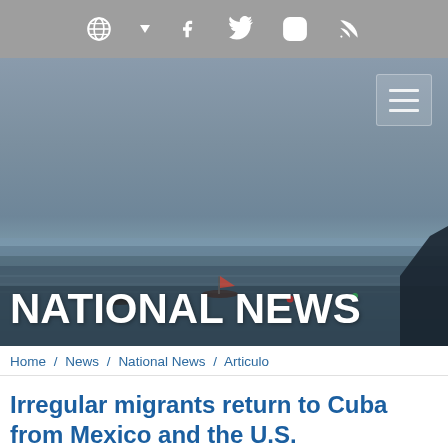National News website header with social media icons: globe, Facebook, Twitter, Instagram, RSS
[Figure (photo): Ocean/sea scene with overcast grey-blue sky, water with small boats and buoys visible, rocky cliff on right side. Overlaid with large white bold text 'NATIONAL NEWS' and a hamburger menu button in top right.]
Home / News / National News / Articulo
Irregular migrants return to Cuba from Mexico and the U.S.